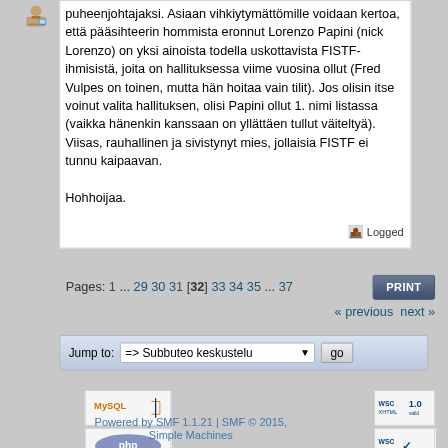puheenjohtajaksi. Asiaan vihkiytymättömille voidaan kertoa, että pääsihteerin hommista eronnut Lorenzo Papini (nick Lorenzo) on yksi ainoista todella uskottavista FISTF-ihmisistä, joita on hallituksessa viime vuosina ollut (Fred Vulpes on toinen, mutta hän hoitaa vain tilit). Jos olisin itse voinut valita hallituksen, olisi Papini ollut 1. nimi listassa (vaikka hänenkin kanssaan on yllättäen tullut väiteltyä). Viisas, rauhallinen ja sivistynyt mies, jollaisia FISTF ei tunnu kaipaavan.

Hohhoijaa.
Logged
Pages: 1 ... 29 30 31 [32] 33 34 35 ... 37
PRINT
« previous next »
Jump to: => Subbuteo keskustelu   go
Powered by SMF 1.1.21 | SMF © 2015, Simple Machines